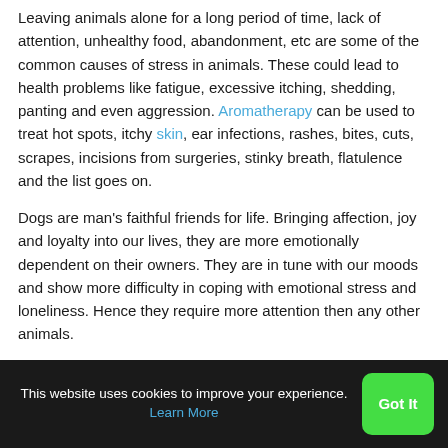Leaving animals alone for a long period of time, lack of attention, unhealthy food, abandonment, etc are some of the common causes of stress in animals. These could lead to health problems like fatigue, excessive itching, shedding, panting and even aggression. Aromatherapy can be used to treat hot spots, itchy skin, ear infections, rashes, bites, cuts, scrapes, incisions from surgeries, stinky breath, flatulence and the list goes on.
Dogs are man's faithful friends for life. Bringing affection, joy and loyalty into our lives, they are more emotionally dependent on their owners. They are in tune with our moods and show more difficulty in coping with emotional stress and loneliness. Hence they require more attention then any other animals.
This website uses cookies to improve your experience. Learn More  Got It